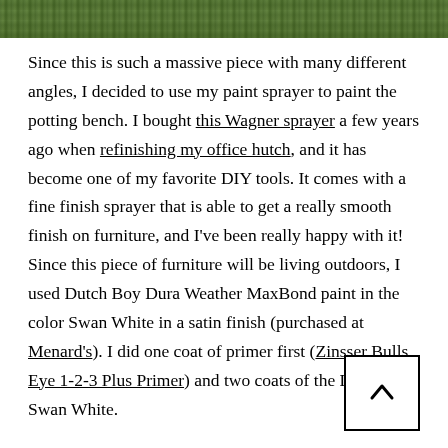[Figure (photo): Top strip of an outdoor grassy/garden scene photo, cropped to show only the top portion with green grass and foliage.]
Since this is such a massive piece with many different angles, I decided to use my paint sprayer to paint the potting bench. I bought this Wagner sprayer a few years ago when refinishing my office hutch, and it has become one of my favorite DIY tools. It comes with a fine finish sprayer that is able to get a really smooth finish on furniture, and I've been really happy with it! Since this piece of furniture will be living outdoors, I used Dutch Boy Dura Weather MaxBond paint in the color Swan White in a satin finish (purchased at Menard's). I did one coat of primer first (Zinsser Bulls Eye 1-2-3 Plus Primer) and two coats of the Dutch Boy Swan White.
I will note that this potting bench is big, tall, and pretty heavy once it is all built, so plan ahead about where you want to build and paint this piece! Jeremy and I very carefully loaded our